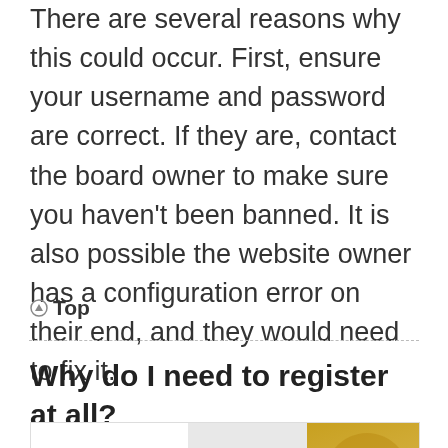There are several reasons why this could occur. First, ensure your username and password are correct. If they are, contact the board owner to make sure you haven't been banned. It is also possible the website owner has a configuration error on their end, and they would need to fix it.
↑ Top
Why do I need to register at all?
[Figure (other): Advertisement banner for The Company Store showing logo, folded white sheets, and gold fabric background with close controls]